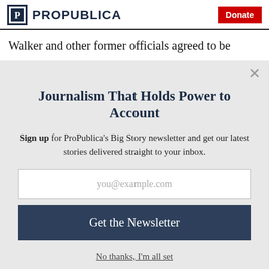ProPublica | Donate
Walker and other former officials agreed to be
Journalism That Holds Power to Account
Sign up for ProPublica's Big Story newsletter and get our latest stories delivered straight to your inbox.
you@example.com
Get the Newsletter
No thanks, I'm all set
This site is protected by reCAPTCHA and the Google Privacy Policy and Terms of Service apply.